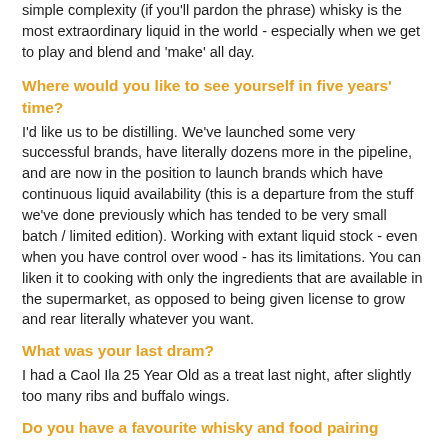simple complexity (if you'll pardon the phrase) whisky is the most extraordinary liquid in the world - especially when we get to play and blend and 'make' all day.
Where would you like to see yourself in five years' time?
I'd like us to be distilling. We've launched some very successful brands, have literally dozens more in the pipeline, and are now in the position to launch brands which have continuous liquid availability (this is a departure from the stuff we've done previously which has tended to be very small batch / limited edition). Working with extant liquid stock - even when you have control over wood - has its limitations. You can liken it to cooking with only the ingredients that are available in the supermarket, as opposed to being given license to grow and rear literally whatever you want.
What was your last dram?
I had a Caol Ila 25 Year Old as a treat last night, after slightly too many ribs and buffalo wings.
Do you have a favourite whisky and food pairing